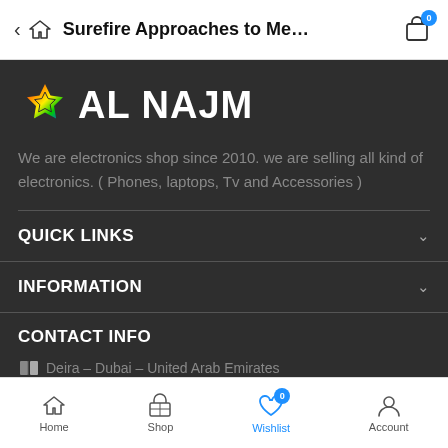< 🏠 Surefire Approaches to Me... 🛒 0
[Figure (logo): AL NAJM colorful star logo with rainbow-colored star icon followed by bold white text AL NAJM]
We are electronics shop since 2010. we are selling all kind of electronics. ( Phones, laptops, Tv and Accessories )
QUICK LINKS
INFORMATION
CONTACT INFO
🗺 Deira – Dubai – United Arab Emirates
Home  Shop  Wishlist 0  Account